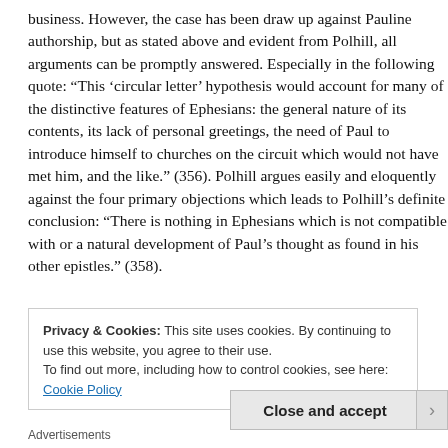business. However, the case has been draw up against Pauline authorship, but as stated above and evident from Polhill, all arguments can be promptly answered. Especially in the following quote: “This ‘circular letter’ hypothesis would account for many of the distinctive features of Ephesians: the general nature of its contents, its lack of personal greetings, the need of Paul to introduce himself to churches on the circuit which would not have met him, and the like.” (356). Polhill argues easily and eloquently against the four primary objections which leads to Polhill’s definite conclusion: “There is nothing in Ephesians which is not compatible with or a natural development of Paul’s thought as found in his other epistles.” (358).
Privacy & Cookies: This site uses cookies. By continuing to use this website, you agree to their use.
To find out more, including how to control cookies, see here: Cookie Policy
Close and accept
Advertisements